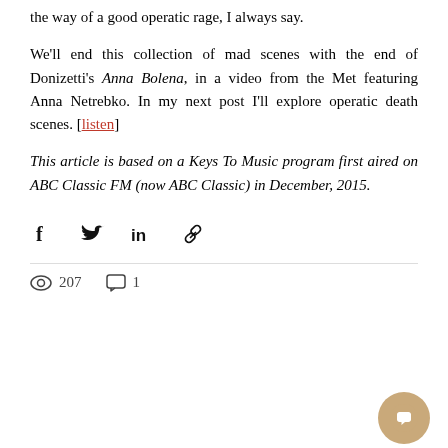the way of a good operatic rage, I always say.
We'll end this collection of mad scenes with the end of Donizetti's Anna Bolena, in a video from the Met featuring Anna Netrebko. In my next post I'll explore operatic death scenes. [listen]
This article is based on a Keys To Music program first aired on ABC Classic FM (now ABC Classic) in December, 2015.
[Figure (infographic): Social share icons: Facebook, Twitter, LinkedIn, link]
207 views, 1 comment